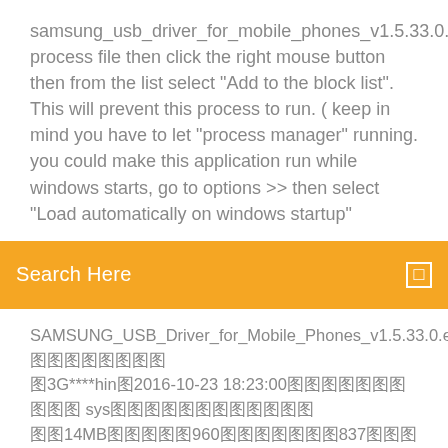samsung_usb_driver_for_mobile_phones_v1.5.33.0.exe process file then click the right mouse button then from the list select "Add to the block list". This will prevent this process to run. ( keep in mind you have to let "process manager" running. you could make this application run while windows starts, go to options >> then select " load automatically on windows startup"
Search Here
SAMSUNG_USB_Driver_for_Mobile_Phones_v1.5.33.0.exe圖圖圖圖圖圖圖圖3G****hin圖2016-10-23 18:23:00圖圖圖圖圖圖圖圖圖圖 sys圖圖圖圖圖圖圖圖圖圖圖圖14MB圖圖圖圖圖960圖圖圖圖圖圖圖837圖圖圖圖圖圖圖圖圖圖圖圖
Jeux simulation de vie gratuit a telecharger
How to turn off screen freeze
Fallout 3 game of the year edition pc not working steam
Pilote graphique windows 10 gratuit
Comment lire un pdf sur smartphone
Adblock pour edge windows 10